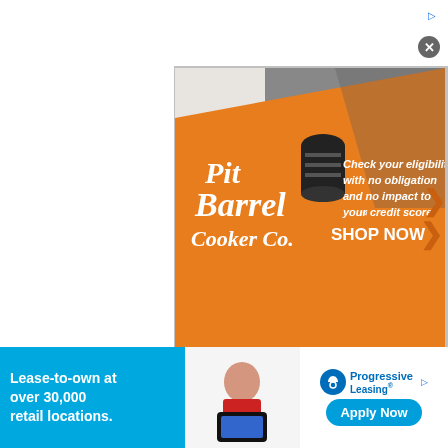[Figure (screenshot): Top white navigation/header bar with ad disclosure icon and close button]
[Figure (photo): Pit Barrel Cooker Co. advertisement banner on orange background. Text reads: Check your eligibility with no obligation and no impact to your credit score! SHOP NOW]
Get 10% of... "MyMMAN..."
[Figure (photo): MMA fighter photo - Chad Anheliger with arms raised, shirtless, with text overlay 'Chad Anheliger discusses his...' Navigation arrow and dots visible.]
[Figure (photo): Progressive Leasing bottom banner ad. Child holding game device. Text: Lease-to-own at over 30,000 retail locations. Progressive Leasing logo. Apply Now button.]